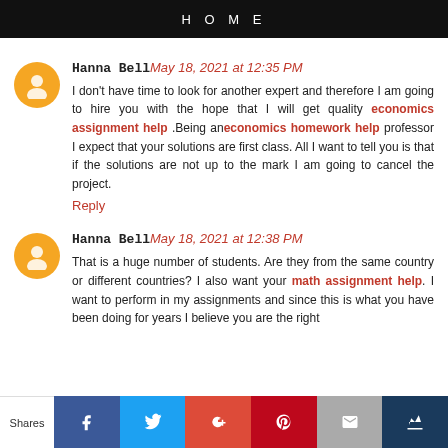HOME
Hanna Bell May 18, 2021 at 12:35 PM
I don't have time to look for another expert and therefore I am going to hire you with the hope that I will get quality economics assignment help .Being an economics homework help professor I expect that your solutions are first class. All I want to tell you is that if the solutions are not up to the mark I am going to cancel the project.
Reply
Hanna Bell May 18, 2021 at 12:38 PM
That is a huge number of students. Are they from the same country or different countries? I also want your math assignment help. I want to perform in my assignments and since this is what you have been doing for years I believe you are the right...
Shares | Facebook | Twitter | Google+ | Pinterest | Email | Crown